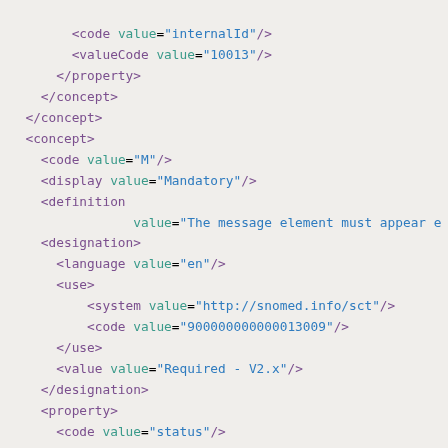XML code snippet showing FHIR CodeSystem concept definitions with property, code, valueCode, concept, display, definition, designation, language, use, system, and value elements.